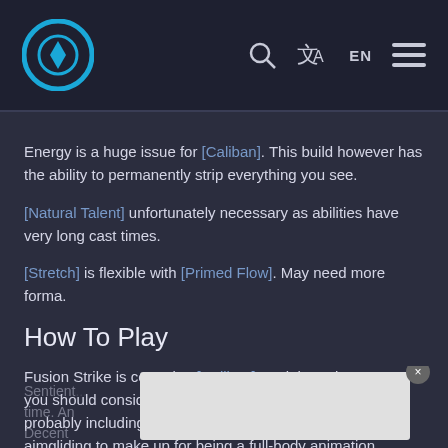Warframe wiki header with logo, search, translate (EN), and menu icons
Energy is a huge issue for [Caliban]. This build however has the ability to permanently strip everything you see.
[Natural Talent] unfortunately necessary as abilities have very long cast times.
[Stretch] is flexible with [Primed Flow]. May need more forma.
How To Play
Fusion Strike is central to [Caliban], and the only reason you should consider playing him. It affects many bosses, probably including Hemocyte. I suggest casting this while aimgliding to make up for being a full-body animation. Spam it everywhere. Get familiar with the radius.
Sentient... [partial text obscured by ad overlay] ...all the time. An... ...ifted. Decent... ...Affects